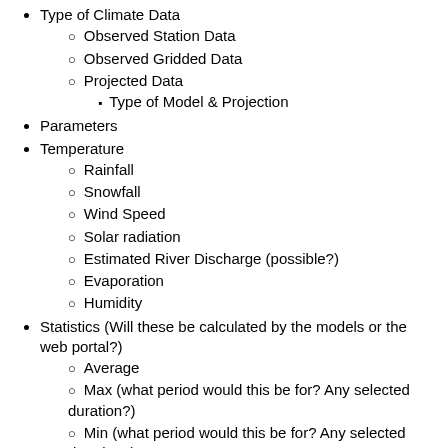Type of Climate Data
Observed Station Data
Observed Gridded Data
Projected Data
Type of Model & Projection
Parameters
Temperature
Rainfall
Snowfall
Wind Speed
Solar radiation
Estimated River Discharge (possible?)
Evaporation
Humidity
Statistics (Will these be calculated by the models or the web portal?)
Average
Max (what period would this be for? Any selected duration?)
Min (what period would this be for? Any selected duration?)
This data will be provided in NetCDF format which will be imported into the Web Portal.